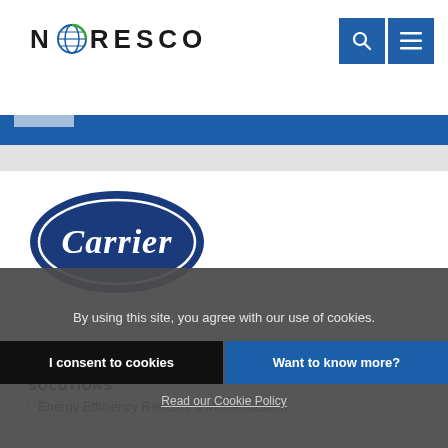NORESCO
[Figure (logo): Carrier oval logo in dark navy blue with white italic script text 'Carrier']
SOLUTIONS
Energy Efficiency Retrofits & Modernization
By using this site, you agree with our use of cookies.
I consent to cookies
Want to know more?
Read our Cookie Policy